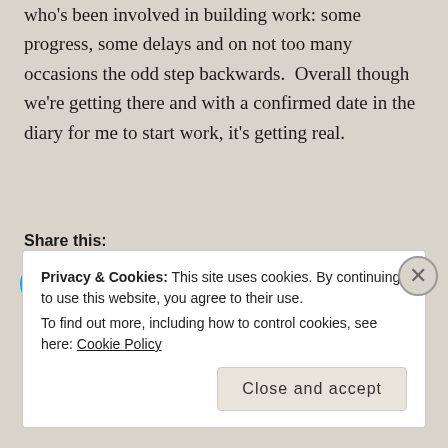who's been involved in building work: some progress, some delays and on not too many occasions the odd step backwards. Overall though we're getting there and with a confirmed date in the diary for me to start work, it's getting real.
Share this:
[Figure (other): Social share buttons: Twitter (blue bird icon), Facebook (blue f icon), Email (envelope icon), and a More button with share icon]
Loading...
Privacy & Cookies: This site uses cookies. By continuing to use this website, you agree to their use. To find out more, including how to control cookies, see here: Cookie Policy
Close and accept